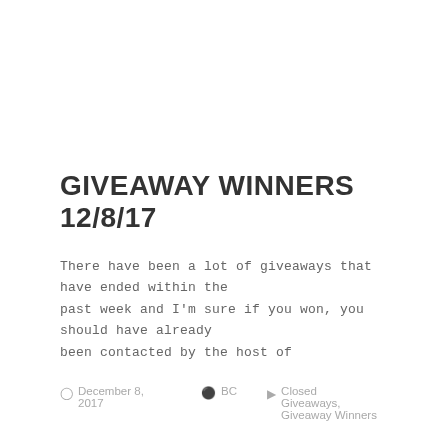GIVEAWAY WINNERS 12/8/17
There have been a lot of giveaways that have ended within the past week and I'm sure if you won, you should have already been contacted by the host of
December 8, 2017   BC   Closed Giveaways, Giveaway Winners